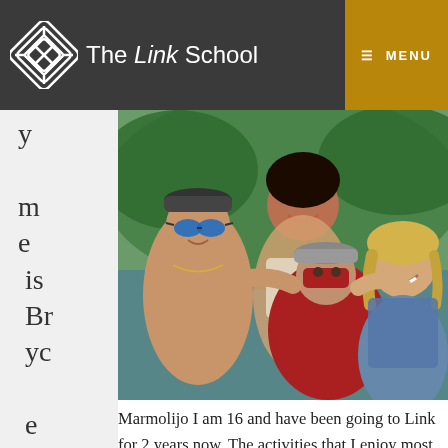The Link School
[Figure (photo): Group photo of four young people (students) smiling outdoors near water, wearing casual summer clothing and hats]
my name is Bryce
Marmolijo I am 16 and have been going to Link for 2 years now. The activities that I enjoy most here at Link are mountain biking, hiking, and snowboarding. I am from southern California where all of the blazing fires happen to be breaking out. I am a very quiet and reserved person even though if you meet me in person I